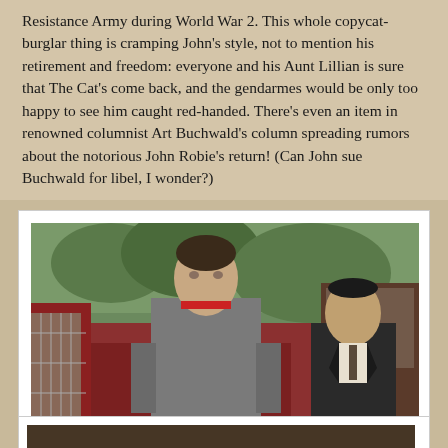Resistance Army during World War 2. This whole copycat-burglar thing is cramping John's style, not to mention his retirement and freedom: everyone and his Aunt Lillian is sure that The Cat's come back, and the gendarmes would be only too happy to see him caught red-handed. There's even an item in renowned columnist Art Buchwald's column spreading rumors about the notorious John Robie's return! (Can John sue Buchwald for libel, I wonder?)
[Figure (photo): A man in a grey turtleneck sweater seated in what appears to be an open-top bus or vehicle, with another older heavier-set man in a dark suit visible behind him. The scene is outdoors with greenery visible in the background.]
A narrow escape, with just one Hitch! (And hints of a future film on the left!)
[Figure (photo): Partial view of another photograph at the bottom of the page, mostly cut off.]